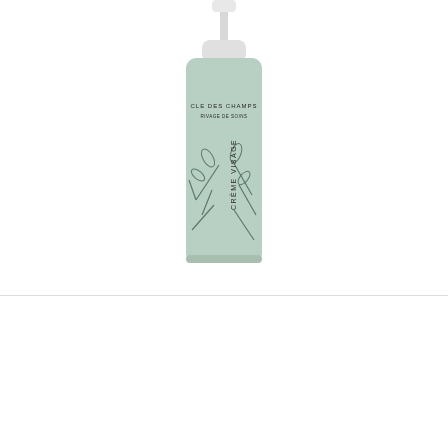[Figure (photo): A light mint/sage green skincare bottle with a white pump cap. The label reads 'CLE DES CHAMPS' and 'CRÈME VISAGE' with botanical line-art illustrations of leaves/branches on the lower portion of the bottle.]
Nous utilisons des cookies pour vous garantir la meilleure expérience sur notre site web. En cliquant sur accepter, vous exprimez votre consentement.
Réglage des cookies
ACCEPTER
REFUSER